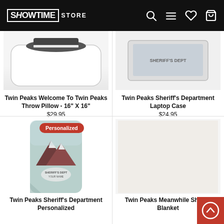SHOWTIME STORE
Twin Peaks Welcome To Twin Peaks Throw Pillow - 16" X 16"
$29.95
Twin Peaks Sheriff's Department Laptop Case
$24.95
[Figure (photo): Personalized phone case product image with Twin Peaks mountain scene and 'YOUR NAME' text]
[Figure (photo): Twin Peaks Meanwhile Sherpa Blanket product image (partially visible)]
Twin Peaks Sheriff's Department Personalized
Twin Peaks Meanwhile Sherpa Blanket